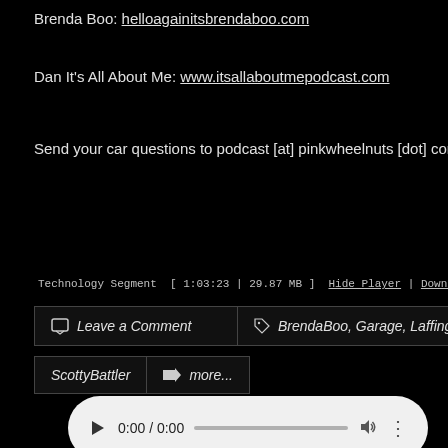Brenda Boo: helloagainitsbrendaboo.com
Dan It's All About Me: www.itsallaboutmepodcast.com
Send your car questions to podcast [at] pinkwheelnuts [dot] com.
[Figure (other): HTML5 audio player widget showing 0:00 / 0:00 with play button, progress bar, volume and menu controls]
Technology Segment  [ 1:03:23 | 29.87 MB ]  Hide Player | Download
🗨 Leave a Comment
BrendaBoo, Garage, Laffingbuddha, LIVE, Mus...
ScottyBattler
➡ more...
PWN-209 Vegas Lock Up Your Sons